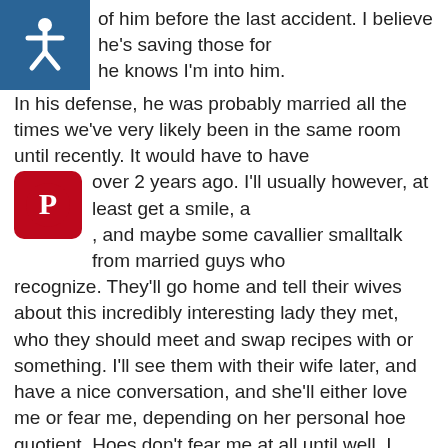of him before the last accident.  I believe he's saving those for he knows I'm into him.
In his defense, he was probably married all the times we've very likely been in the same room until recently.  It would have to have over 2 years ago.  I'll usually however, at least get a smile, a , and maybe some cavallier smalltalk from married guys who recognize.  They'll go home and tell their wives about this incredibly interesting lady they met, who they should meet and swap recipes with or something.  I'll see them with their wife later, and have a nice conversation, and she'll either love me or fear me, depending on her personal hoe quotient.  Hoes don't fear me at all until well, I digress.
Point is, the little devil on my shoulder, much wiser than whatever angel I must have gotten assigned, says stall until he's fully recovered.  Granted, listening to said devil completely would leave me a total recluse, but there is some grain of truth in her warnings.  If he preferred hoes and was new school looks conscious before the last accident, he still is, and just thinks I'm a better option because